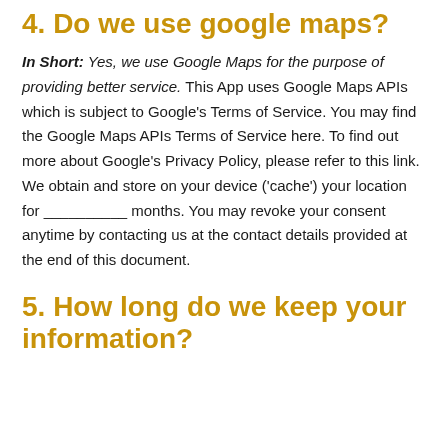4. Do we use google maps?
In Short: Yes, we use Google Maps for the purpose of providing better service. This App uses Google Maps APIs which is subject to Google’s Terms of Service. You may find the Google Maps APIs Terms of Service here. To find out more about Google’s Privacy Policy, please refer to this link. We obtain and store on your device (‘cache’) your location for __________ months. You may revoke your consent anytime by contacting us at the contact details provided at the end of this document.
5. How long do we keep your information?